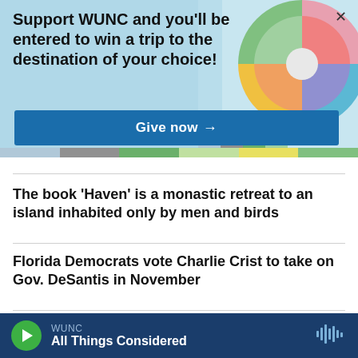Support WUNC and you'll be entered to win a trip to the destination of your choice!
Give now →
The book 'Haven' is a monastic retreat to an island inhabited only by men and birds
Florida Democrats vote Charlie Crist to take on Gov. DeSantis in November
Education Secretary Cardona explains Biden's student
WUNC  All Things Considered